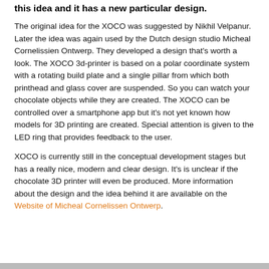this idea and it has a new particular design.
The original idea for the XOCO was suggested by Nikhil Velpanur. Later the idea was again used by the Dutch design studio Micheal Cornelissien Ontwerp. They developed a design that's worth a look. The XOCO 3d-printer is based on a polar coordinate system with a rotating build plate and a single pillar from which both printhead and glass cover are suspended. So you can watch your chocolate objects while they are created. The XOCO can be controlled over a smartphone app but it's not yet known how models for 3D printing are created. Special attention is given to the LED ring that provides feedback to the user.
XOCO is currently still in the conceptual development stages but has a really nice, modern and clear design. It's is unclear if the chocolate 3D printer will even be produced. More information about the design and the idea behind it are available on the Website of Micheal Cornelissen Ontwerp.